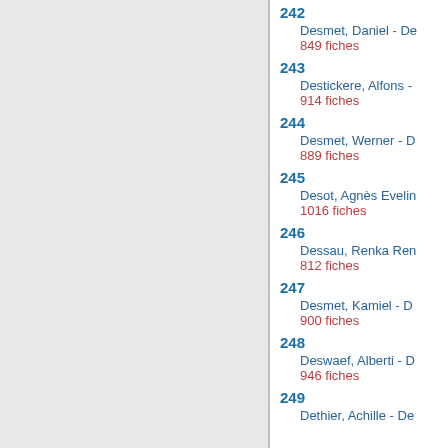242
Desmet, Daniel - De
849 fiches
243
Destickere, Alfons -
914 fiches
244
Desmet, Werner - D
889 fiches
245
Desot, Agnès Evelin
1016 fiches
246
Dessau, Renka Ren
812 fiches
247
Desmet, Kamiel - D
900 fiches
248
Deswaef, Alberti - D
946 fiches
249
Dethier, Achille - De